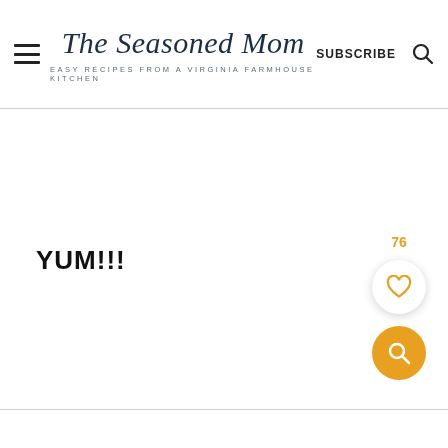The Seasoned Mom — EASY RECIPES FROM A VIRGINIA FARMHOUSE KITCHEN — SUBSCRIBE
YUM!!!
[Figure (other): Heart/like button with count 76 and orange search FAB button]
76